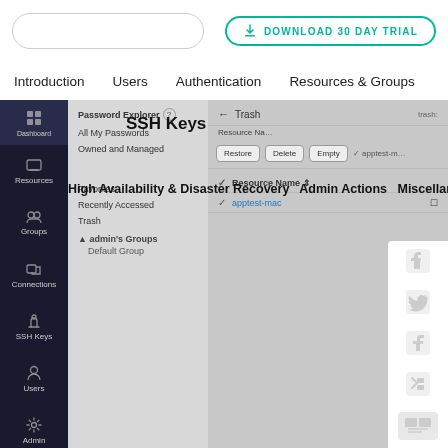[Figure (screenshot): Top bar with search input and Download 30 Day Trial button in teal]
Introduction   Users   Authentication   Resources & Groups
[Figure (screenshot): Software UI screenshot showing sidebar navigation with Dashboard, Resources, Groups, Connections, SSH Keys, Users, Admin, Audit icons; Password Explorer panel with All My Passwords, Owned and Managed, Favorites, Recently Accessed, Trash, admin's Groups, Default Group; Trash content area with Restore, Delete, Empty buttons; resource list showing apptest-mac; social sharing panel with LinkedIn, Twitter, Facebook icons]
SSH Keys & Certificates
High Availability & Disaster Recovery   Admin Actions   Miscellaneous